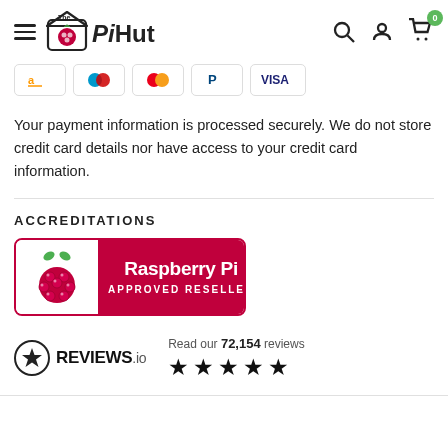The PiHut — navigation header with hamburger menu, logo, search, account, and cart icons (0 items)
[Figure (logo): Payment method icons: Amazon Pay, Maestro, Mastercard, PayPal, Visa]
Your payment information is processed securely. We do not store credit card details nor have access to your credit card information.
ACCREDITATIONS
[Figure (logo): Raspberry Pi Approved Reseller badge — raspberry logo on white left panel, 'Raspberry Pi APPROVED RESELLER' on crimson right panel]
[Figure (logo): REVIEWS.io logo with star badge icon, showing 'Read our 72,154 reviews' and 5 black stars]